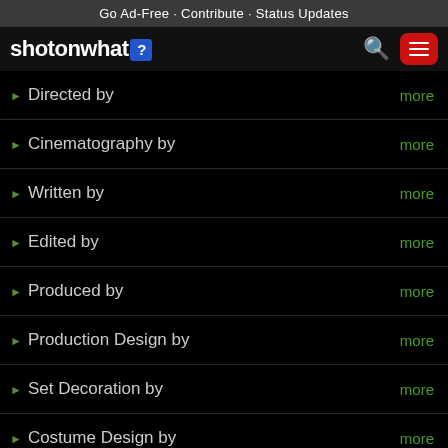Go Ad-Free · Contribute · Status Updates
[Figure (logo): shotonwhat? logo with navigation bar including search icon and red hamburger menu button]
Directed by  more
Cinematography by  more
Written by  more
Edited by  more
Produced by  more
Production Design by  more
Set Decoration by  more
Costume Design by  more
Casting by  more
Production Management